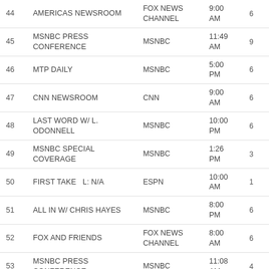| # | Show | Network | Time |  |
| --- | --- | --- | --- | --- |
| 44 | AMERICAS NEWSROOM | FOX NEWS CHANNEL | 9:00 AM | 6 |
| 45 | MSNBC PRESS CONFERENCE | MSNBC | 11:49 AM | 9 |
| 46 | MTP DAILY | MSNBC | 5:00 PM | 6 |
| 47 | CNN NEWSROOM | CNN | 9:00 AM | 6 |
| 48 | LAST WORD W/ L. ODONNELL | MSNBC | 10:00 PM | 6 |
| 49 | MSNBC SPECIAL COVERAGE | MSNBC | 1:26 PM | 3 |
| 50 | FIRST TAKE   L: N/A | ESPN | 10:00 AM | 1 |
| 51 | ALL IN W/ CHRIS HAYES | MSNBC | 8:00 PM | 6 |
| 52 | FOX AND FRIENDS | FOX NEWS CHANNEL | 8:00 AM | 6 |
| 53 | MSNBC PRESS CONFERENCE | MSNBC | 11:08 AM | 4 |
| 54 | MSNBC LIVE W/K.TUR | MSNBC | 2:00 PM | 6 |